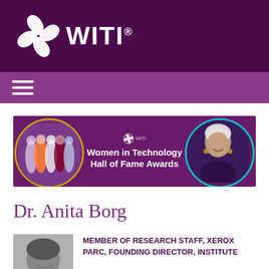[Figure (logo): WITI logo with spiral swirl icon in white on dark purple background]
[Figure (infographic): Women in Technology Hall of Fame Awards banner with group photo on left in gold circle and woman on right in teal circle, on purple background]
Dr. Anita Borg
[Figure (photo): Black and white headshot photo of Dr. Anita Borg]
MEMBER OF RESEARCH STAFF, XEROX PARC, FOUNDING DIRECTOR, INSTITUTE